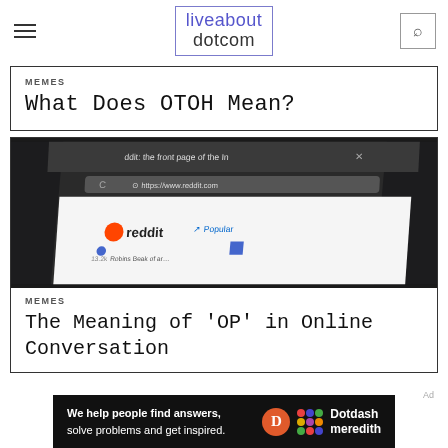liveabout dotcom
MEMES
What Does OTOH Mean?
[Figure (screenshot): Screenshot of the Reddit website homepage shown at an angle, with browser chrome visible including URL bar showing https://www.reddit.com and the Reddit logo and Popular tab visible.]
MEMES
The Meaning of 'OP' in Online Conversation
We help people find answers, solve problems and get inspired. Dotdash meredith